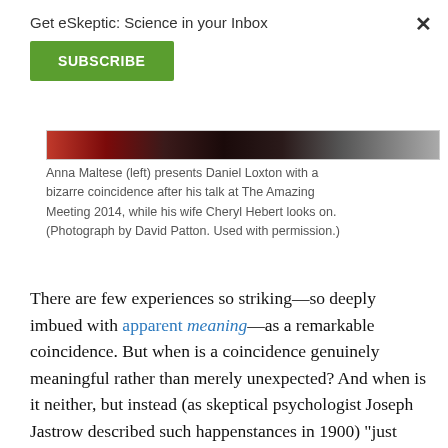Get eSkeptic: Science in your Inbox
SUBSCRIBE
[Figure (photo): Partial photo strip showing people at The Amazing Meeting 2014]
Anna Maltese (left) presents Daniel Loxton with a bizarre coincidence after his talk at The Amazing Meeting 2014, while his wife Cheryl Hebert looks on. (Photograph by David Patton. Used with permission.)
There are few experiences so striking—so deeply imbued with apparent meaning—as a remarkable coincidence. But when is a coincidence genuinely meaningful rather than merely unexpected? And when is it neither, but instead (as skeptical psychologist Joseph Jastrow described such happenstances in 1900) "just what the normal distribution of such phenomena